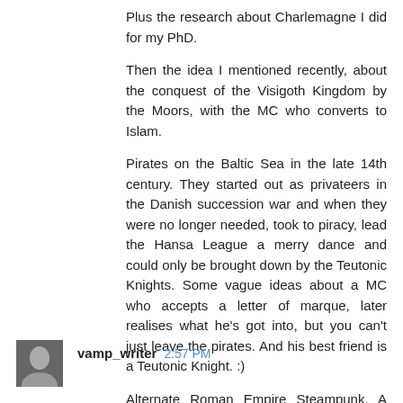Plus the research about Charlemagne I did for my PhD.
Then the idea I mentioned recently, about the conquest of the Visigoth Kingdom by the Moors, with the MC who converts to Islam.
Pirates on the Baltic Sea in the late 14th century. They started out as privateers in the Danish succession war and when they were no longer needed, took to piracy, lead the Hansa League a merry dance and could only be brought down by the Teutonic Knights. Some vague ideas about a MC who accepts a letter of marque, later realises what he's got into, but you can't just leave the pirates. And his best friend is a Teutonic Knight. :)
Alternate Roman Empire Steampunk. A very vague one, but I want to use rifles for a change. *grin*
Reply
vamp_writer 2:57 PM